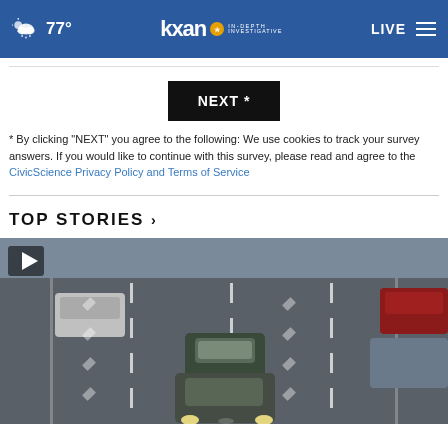77° KXAN IN-DEPTH INVESTIGATIVE LIVE
* By clicking "NEXT" you agree to the following: We use cookies to track your survey answers. If you would like to continue with this survey, please read and agree to the CivicScience Privacy Policy and Terms of Service
TOP STORIES ›
[Figure (photo): Aerial view of highway traffic with multiple cars driving on a multi-lane road, viewed from above. A play button overlay is visible in the upper left corner.]